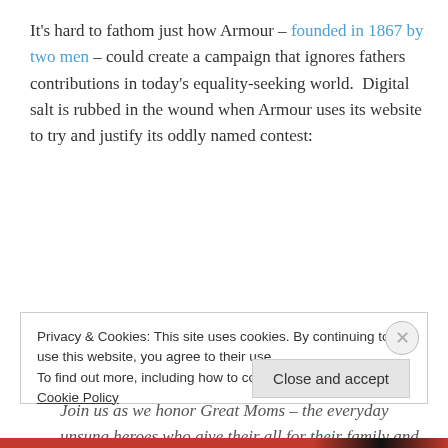It's hard to fathom just how Armour – founded in 1867 by two men – could create a campaign that ignores fathers contributions in today's equality-seeking world.  Digital salt is rubbed in the wound when Armour uses its website to try and justify its oddly named contest:
Join us as we honor Great Moms – the everyday unsung heroes who give their all for their family and
Privacy & Cookies: This site uses cookies. By continuing to use this website, you agree to their use.
To find out more, including how to control cookies, see here: Cookie Policy
Close and accept